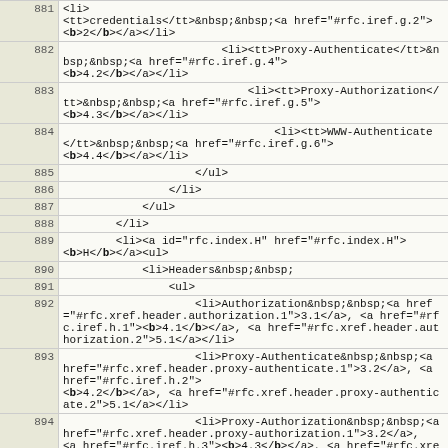| line | code |
| --- | --- |
| 881 | <li>
<tt>credentials</tt>&nbsp;&nbsp;<a href="#rfc.iref.g.2"><b>2</b></a></li> |
| 882 | <li><tt>Proxy-Authenticate</tt>&nbsp;&nbsp;<a href="#rfc.iref.g.4"><b>4.2</b></a></li> |
| 883 | <li><tt>Proxy-Authorization</tt>&nbsp;&nbsp;<a href="#rfc.iref.g.5"><b>4.3</b></a></li> |
| 884 | <li><tt>WWW-Authenticate</tt>&nbsp;&nbsp;<a href="#rfc.iref.g.6"><b>4.4</b></a></li> |
| 885 | </ul> |
| 886 | </li> |
| 887 | </ul> |
| 888 | </li> |
| 889 | <li><a id="rfc.index.H" href="#rfc.index.H"><b>H</b></a><ul> |
| 890 | <li>Headers&nbsp;&nbsp; |
| 891 | <ul> |
| 892 | <li>Authorization&nbsp;&nbsp;<a href="#rfc.xref.header.authorization.1">3.1</a>, <a href="#rfc.iref.h.1"><b>4.1</b></a>, <a href="#rfc.xref.header.authorization.2">5.1</a></li> |
| 893 | <li>Proxy-Authenticate&nbsp;&nbsp;<a href="#rfc.xref.header.proxy-authenticate.1">3.2</a>, <a href="#rfc.iref.h.2"><b>4.2</b></a>, <a href="#rfc.xref.header.proxy-authenticate.2">5.1</a></li> |
| 894 | <li>Proxy-Authorization&nbsp;&nbsp;<a href="#rfc.xref.header.proxy-authorization.1">3.2</a>, <a href="#rfc.iref.h.3"><b>4.3</b></a>, <a href="#rfc.xref.header.proxy-authorization.2">5.1</a></li> |